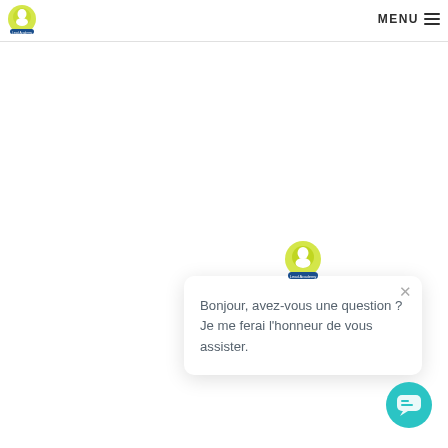Logo | MENU ≡
[Figure (screenshot): Chat popup widget with logo icon, close X button, and greeting message: Bonjour, avez-vous une question ? Je me ferai l'honneur de vous assister.]
Bonjour, avez-vous une question ? Je me ferai l'honneur de vous assister.
[Figure (illustration): Teal round chat bubble button in bottom right corner]